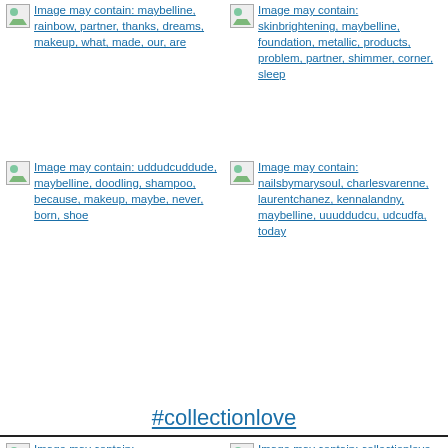[Figure (other): Broken image placeholder with alt text link: Image may contain: maybelline, rainbow, partner, thanks, dreams, makeup, what, made, our, are]
[Figure (other): Broken image placeholder with alt text link: Image may contain: skinbrightening, maybelline, foundation, metallic, products, problem, partner, shimmer, corner, sleep]
[Figure (other): Broken image placeholder with alt text link: Image may contain: uddudcuddude, maybelline, doodling, shampoo, because, makeup, maybe, never, born, shoe]
[Figure (other): Broken image placeholder with alt text link: Image may contain: nailsbymarysoul, charlesvarenne, laurentchanez, kennalandny, maybelline, uuuddudcu, udcudfa, today]
#collectionlove
[Figure (other): Broken image placeholder with alt text link: Image may contain: udcudfuddudemad, uufefuufefuufef, collectionlove]
[Figure (other): Broken image placeholder with alt text link: Image may contain: collectionlove, eylureofficial, currently, bootsuk, wearing]